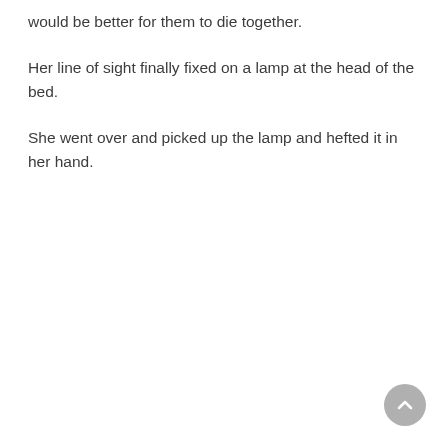would be better for them to die together.
Her line of sight finally fixed on a lamp at the head of the bed.
She went over and picked up the lamp and hefted it in her hand.